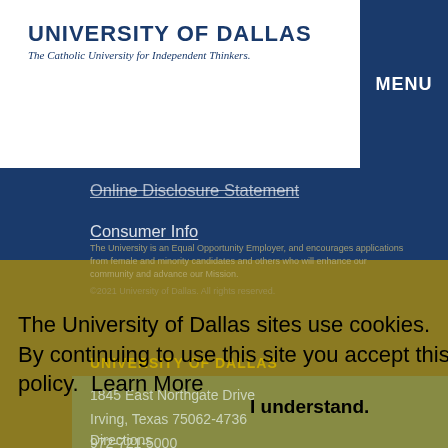UNIVERSITY OF DALLAS | The Catholic University for Independent Thinkers.
Online Disclosure Statement
Consumer Info
Formal Campus Weapons Policy
COVID Case Report
The University is an Equal Opportunity Employer, and encourages applications from female and minority candidates and others who will enhance our community and advance our Mission.
The University of Dallas sites use cookies. By continuing to use this site you accept this policy.  Learn More
UNIVERSITY OF DALLAS
1845 East Northgate Drive
Irving, Texas 75062-4736
972-721-5000
I understand.
Directions